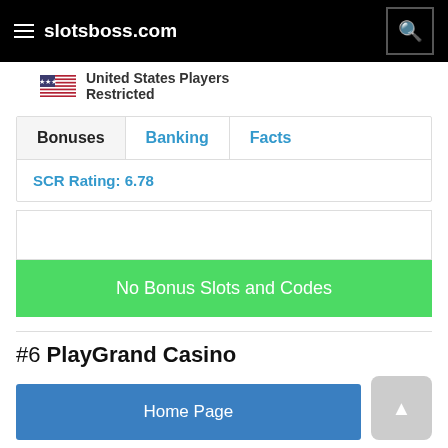slotsboss.com
United States Players Restricted
Bonuses | Banking | Facts
SCR Rating: 6.78
No Bonus Slots and Codes
#6 PlayGrand Casino
Home Page
United States Players Restricted